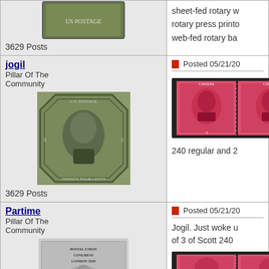[Figure (photo): Forum post layout showing stamp collector forum with user profiles and stamp images]
3629 Posts
sheet-fed rotary w... rotary press printo... web-fed rotary ba...
jogil
Pillar Of The Community
Posted 05/21/20...
[Figure (photo): US 24-cent George Washington stamp, dark green, ornate frame]
3629 Posts
[Figure (photo): Canada 3-cent King George VI stamps, pair, red/pink color]
240 regular and 2...
Partime
Pillar Of The Community
Posted 05/21/20...
Jogil. Just woke u... of 3 of Scott 240 ...
[Figure (photo): Postal Union Congress London 1929 stamp, £1, King George V, dark grey]
[Figure (photo): Canada stamps strip, red/pink, King George VI, partial view at bottom]